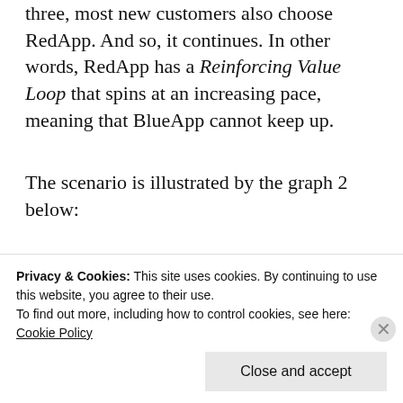three, most new customers also choose RedApp. And so, it continues. In other words, RedApp has a Reinforcing Value Loop that spins at an increasing pace, meaning that BlueApp cannot keep up.
The scenario is illustrated by the graph 2 below:
[Figure (continuous-plot): Partially visible line chart showing growth of RedApp and BlueApp, with y-axis value 45 visible and a horizontal gridline.]
Privacy & Cookies: This site uses cookies. By continuing to use this website, you agree to their use.
To find out more, including how to control cookies, see here: Cookie Policy